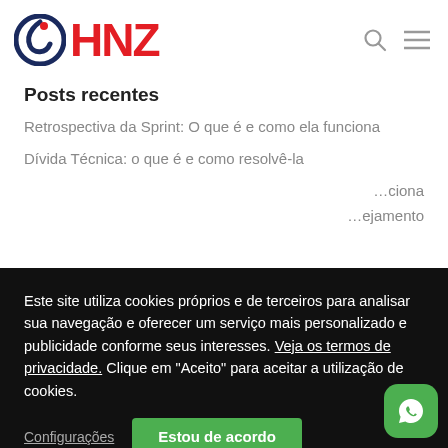HNZ
Posts recentes
Retrospectiva da Sprint: O que é e como ela funciona
Dívida Técnica: o que é e como resolvê-la
Este site utiliza cookies próprios e de terceiros para analisar sua navegação e oferecer um serviço mais personalizado e publicidade conforme seus interesses. Veja os termos de privacidade. Clique em "Aceito" para aceitar a utilização de cookies.
Configurações | Estou de acordo